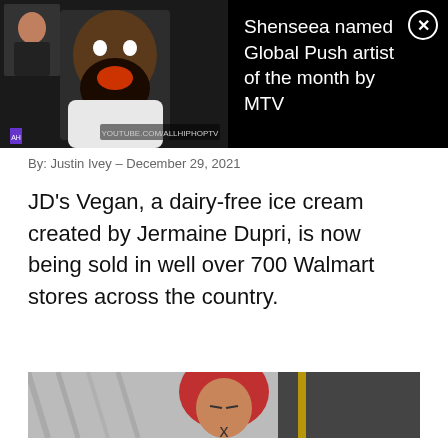[Figure (screenshot): Ad overlay banner showing a YouTube thumbnail with a bearded man in a white hoodie and a smaller inset of a woman, with text 'Shenseea named Global Push artist of the month by MTV' and a close (X) button on a black background]
By: Justin Ivey - December 29, 2021
JD's Vegan, a dairy-free ice cream created by Jermaine Dupri, is now being sold in well over 700 Walmart stores across the country.
[Figure (photo): Photo of a woman with red hair leaning back with eyes closed, possibly a microphone visible, in front of a white draped background]
x